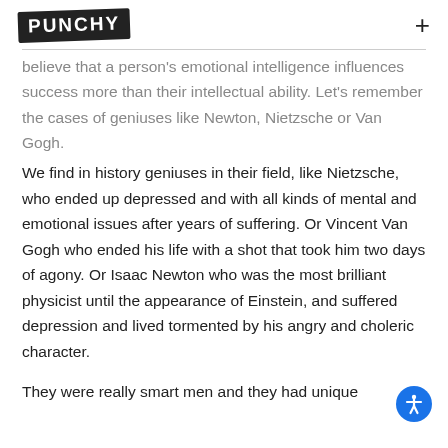PUNCHY
believe that a person's emotional intelligence influences success more than their intellectual ability. Let's remember the cases of geniuses like Newton, Nietzsche or Van Gogh.
We find in history geniuses in their field, like Nietzsche, who ended up depressed and with all kinds of mental and emotional issues after years of suffering. Or Vincent Van Gogh who ended his life with a shot that took him two days of agony. Or Isaac Newton who was the most brilliant physicist until the appearance of Einstein, and suffered depression and lived tormented by his angry and choleric character.
They were really smart men and they had unique